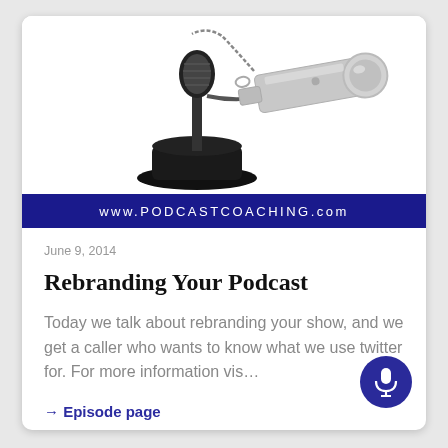[Figure (photo): Photo of a vintage microphone on a black base next to a silver metal whistle on a white background]
www.PodcastCoaching.com
June 9, 2014
Rebranding Your Podcast
Today we talk about rebranding your show, and we get a caller who wants to know what we use twitter for. For more information vis…
→ Episode page